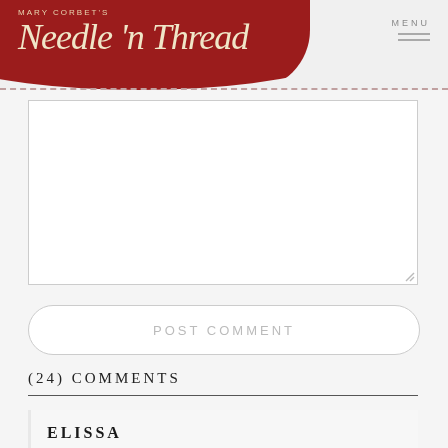Mary Corbet's Needle 'n Thread
[Figure (screenshot): Comment text area input box, empty, with resize handle at bottom right]
POST COMMENT
(24) COMMENTS
ELISSA